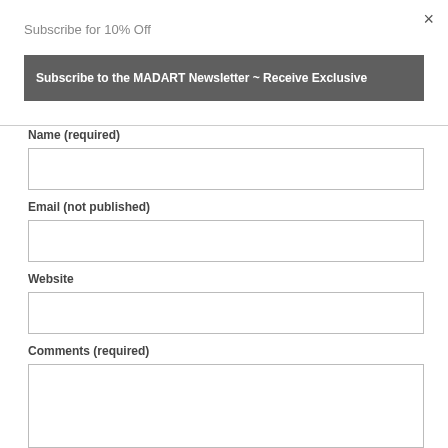×
Subscribe for 10% Off
Subscribe to the MADART Newsletter ~ Receive Exclusive
Name (required)
Email (not published)
Website
Comments (required)